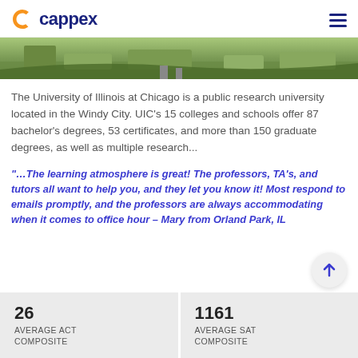cappex
[Figure (photo): Aerial/overhead view of a campus with trees and walkways]
The University of Illinois at Chicago is a public research university located in the Windy City. UIC's 15 colleges and schools offer 87 bachelor's degrees, 53 certificates, and more than 150 graduate degrees, as well as multiple research...
“…The learning atmosphere is great! The professors, TA’s, and tutors all want to help you, and they let you know it! Most respond to emails promptly, and the professors are always accommodating when it comes to office hour – Mary from Orland Park, IL
| 26 | AVERAGE ACT COMPOSITE |
| 1161 | AVERAGE SAT COMPOSITE |